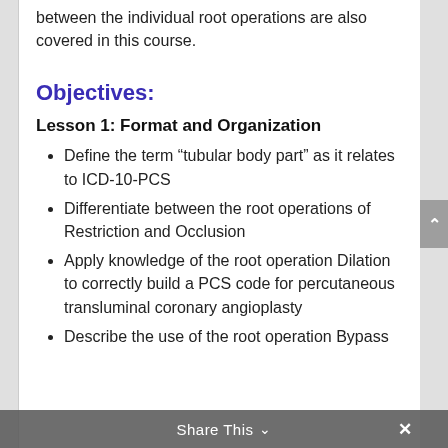between the individual root operations are also covered in this course.
Objectives:
Lesson 1: Format and Organization
Define the term “tubular body part” as it relates to ICD-10-PCS
Differentiate between the root operations of Restriction and Occlusion
Apply knowledge of the root operation Dilation to correctly build a PCS code for percutaneous transluminal coronary angioplasty
Describe the use of the root operation Bypass
Share This